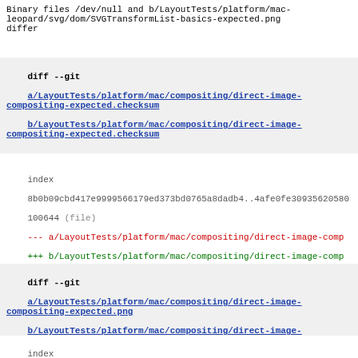Binary files /dev/null and b/LayoutTests/platform/mac-leopard/svg/dom/SVGTransformList-basics-expected.png differ
diff --git a/LayoutTests/platform/mac/compositing/direct-image-compositing-expected.checksum b/LayoutTests/platform/mac/compositing/direct-image-compositing-expected.checksum
index 8b0b09cbd417e9999566179ed373bd0765a8dadb4..4afe0fe30935620580 100644 (file)
--- a/LayoutTests/platform/mac/compositing/direct-image-comp
+++ b/LayoutTests/platform/mac/compositing/direct-image-comp
@@ -1 +1 @@
-1f8098fac830e9bde1389635b2959be0
\ No newline at end of file
+4f740c4d85cb7fddc259f4b2f785584a
\ No newline at end of file
diff --git a/LayoutTests/platform/mac/compositing/direct-image-compositing-expected.png b/LayoutTests/platform/mac/compositing/direct-image-compositing-expected.png
index 4ff0c0f5ce8d195d5f91c705d218c0932e76f300..8276d6da0274fe4cdo 100644 (file)
Binary files a/LayoutTests/platform/mac/compositing/direct-image-compositing-expected.png and b/LayoutTests/platform/mac/compositing/direct-image-